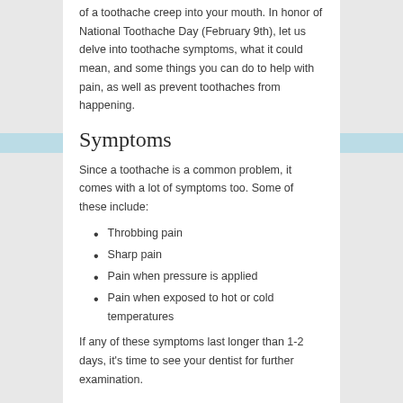of a toothache creep into your mouth. In honor of National Toothache Day (February 9th), let us delve into toothache symptoms, what it could mean, and some things you can do to help with pain, as well as prevent toothaches from happening.
Symptoms
Since a toothache is a common problem, it comes with a lot of symptoms too. Some of these include:
Throbbing pain
Sharp pain
Pain when pressure is applied
Pain when exposed to hot or cold temperatures
If any of these symptoms last longer than 1-2 days, it's time to see your dentist for further examination.